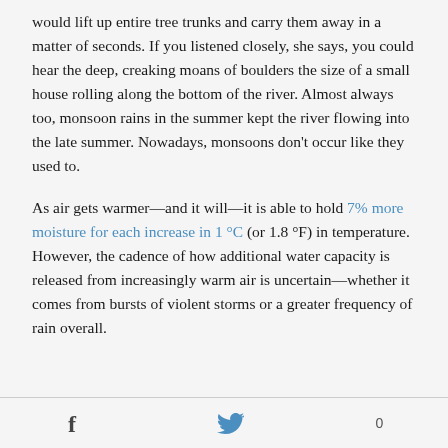would lift up entire tree trunks and carry them away in a matter of seconds. If you listened closely, she says, you could hear the deep, creaking moans of boulders the size of a small house rolling along the bottom of the river. Almost always too, monsoon rains in the summer kept the river flowing into the late summer. Nowadays, monsoons don't occur like they used to.
As air gets warmer—and it will—it is able to hold 7% more moisture for each increase in 1 °C (or 1.8 °F) in temperature. However, the cadence of how additional water capacity is released from increasingly warm air is uncertain—whether it comes from bursts of violent storms or a greater frequency of rain overall.
f  [twitter icon]  0